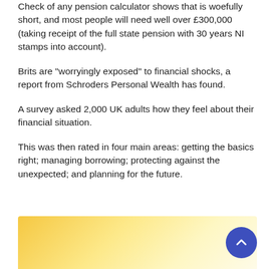Check of any pension calculator shows that is woefully short, and most people will need well over £300,000 (taking receipt of the full state pension with 30 years NI stamps into account).
Brits are “worryingly exposed” to financial shocks, a report from Schroders Personal Wealth has found.
A survey asked 2,000 UK adults how they feel about their financial situation.
This was then rated in four main areas: getting the basics right; managing borrowing; protecting against the unexpected; and planning for the future.
[Figure (illustration): A golden/yellow gradient decorative background panel, partially visible at the bottom of the page, with a dark blue circular scroll-to-top button with an upward chevron arrow on the right side.]